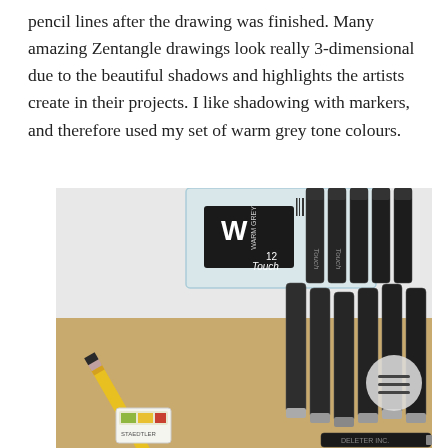pencil lines after the drawing was finished. Many amazing Zentangle drawings look really 3-dimensional due to the beautiful shadows and highlights the artists create in their projects. I like shadowing with markers, and therefore used my set of warm grey tone colours.
[Figure (photo): A set of Touch warm grey tone markers in a clear plastic display case, along with a yellow pencil, an eraser, and other art supplies arranged on a brown kraft paper surface.]